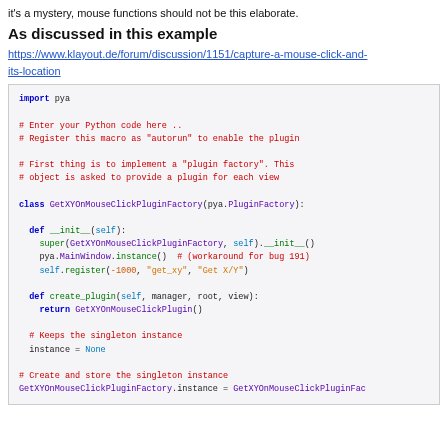it's a mystery, mouse functions should not be this elaborate.
As discussed in this example
https://www.klayout.de/forum/discussion/1151/capture-a-mouse-click-and-its-location
[Figure (screenshot): Python code block showing GetXYOnMouseClickPluginFactory class implementation with import pya, class definition, __init__ method with super call, pya.MainWindow.instance(), self.register, create_plugin method, and singleton instance setup.]